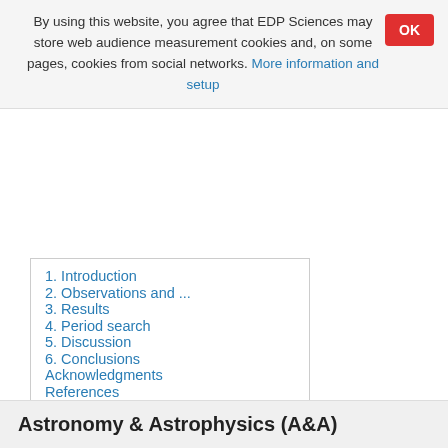By using this website, you agree that EDP Sciences may store web audience measurement cookies and, on some pages, cookies from social networks. More information and setup
1. Introduction
2. Observations and ...
3. Results
4. Period search
5. Discussion
6. Conclusions
Acknowledgments
References
List of tables
List of figures
Astronomy & Astrophysics (A&A)